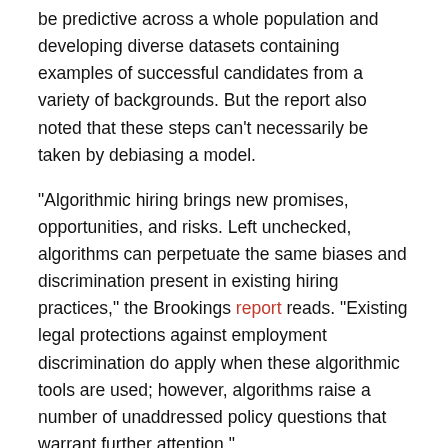be predictive across a whole population and developing diverse datasets containing examples of successful candidates from a variety of backgrounds. But the report also noted that these steps can't necessarily be taken by debiasing a model.
“Algorithmic hiring brings new promises, opportunities, and risks. Left unchecked, algorithms can perpetuate the same biases and discrimination present in existing hiring practices,” the Brookings report reads. “Existing legal protections against employment discrimination do apply when these algorithmic tools are used; however, algorithms raise a number of unaddressed policy questions that warrant further attention.”
This article was originally published by Venturebeat.com. Read the original article here. Enterprise